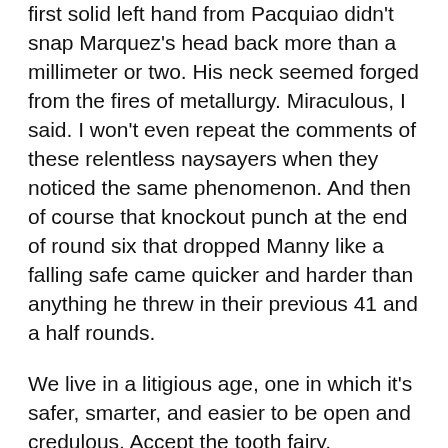first solid left hand from Pacquiao didn't snap Marquez's head back more than a millimeter or two. His neck seemed forged from the fires of metallurgy. Miraculous, I said. I won't even repeat the comments of these relentless naysayers when they noticed the same phenomenon. And then of course that knockout punch at the end of round six that dropped Manny like a falling safe came quicker and harder than anything he threw in their previous 41 and a half rounds.
We live in a litigious age, one in which it's safer, smarter, and easier to be open and credulous. Accept the tooth fairy. Embrace Santa. Congratulate fighters for their hard work and exemplary victories.
But allow me to point out that the world of boxing won't be quite as unsuspecting. Even though we take Marquez at his word that his magical